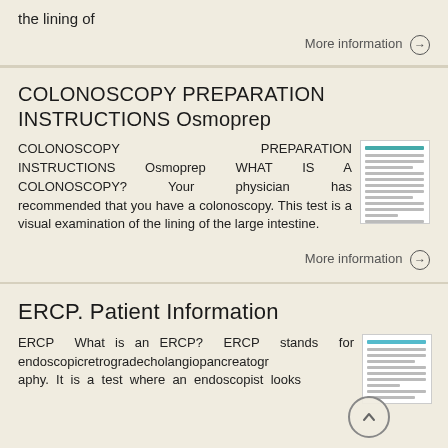the lining of
More information →
COLONOSCOPY PREPARATION INSTRUCTIONS Osmoprep
COLONOSCOPY PREPARATION INSTRUCTIONS Osmoprep WHAT IS A COLONOSCOPY? Your physician has recommended that you have a colonoscopy. This test is a visual examination of the lining of the large intestine.
[Figure (screenshot): Thumbnail image of a colonoscopy preparation instructions document]
More information →
ERCP. Patient Information
ERCP What is an ERCP? ERCP stands for endoscopicretrogradecholangiopancreatography. It is a test where an endoscopist looks
[Figure (screenshot): Thumbnail image of ERCP patient information document]